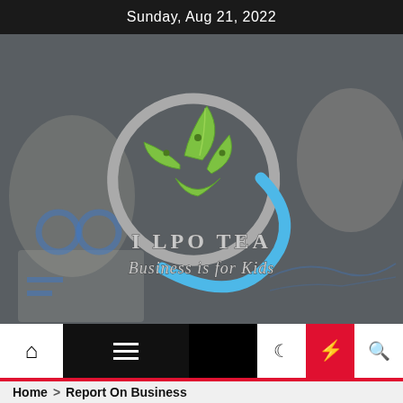Sunday, Aug 21, 2022
[Figure (logo): I LPO TEA - Business is for Kids logo with green leaf/money shapes and circular swoosh design, overlaid on a blurred business chart background]
[Figure (infographic): Navigation bar with home icon, hamburger menu, moon icon, lightning bolt (red background), and search icon]
Home > Report On Business